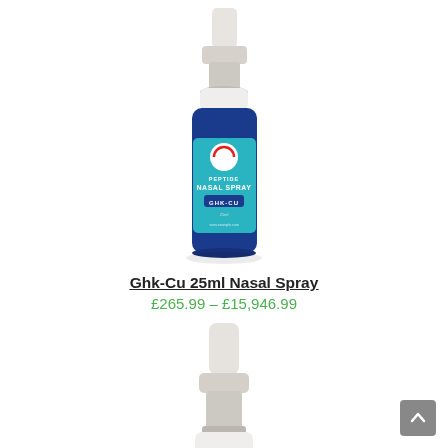[Figure (photo): A small blue glass nasal spray bottle with a white pump top. The label reads 'PEPTIDE NASAL SPRAY GHK-CU' with a circular logo at the top of the label.]
Ghk-Cu 25ml Nasal Spray
£265.99 – £15,946.99
[Figure (photo): A white nasal spray pump/nozzle assembly (top portion only visible), shown on a white background.]